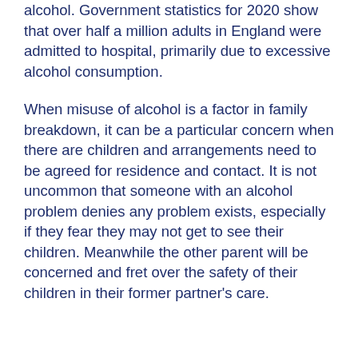alcohol. Government statistics for 2020 show that over half a million adults in England were admitted to hospital, primarily due to excessive alcohol consumption.
When misuse of alcohol is a factor in family breakdown, it can be a particular concern when there are children and arrangements need to be agreed for residence and contact. It is not uncommon that someone with an alcohol problem denies any problem exists, especially if they fear they may not get to see their children. Meanwhile the other parent will be concerned and fret over the safety of their children in their former partner's care.